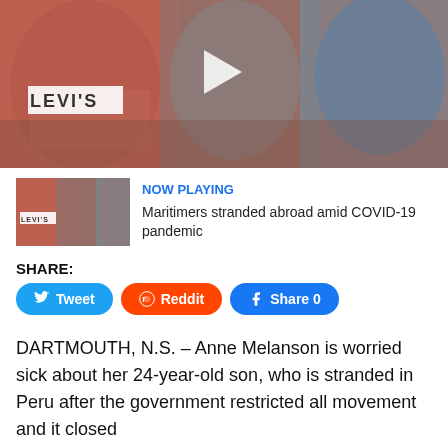[Figure (photo): Video thumbnail showing three men sitting together, one wearing a Levi's shirt. A play button is visible in the center.]
[Figure (photo): Small thumbnail of same video with NOW PLAYING label in blue]
Maritimers stranded abroad amid COVID-19 pandemic
SHARE:
Tweet  Reddit  Share 0
DARTMOUTH, N.S. – Anne Melanson is worried sick about her 24-year-old son, who is stranded in Peru after the government restricted all movement and it closed borders due to the COVID-19 pandemic.